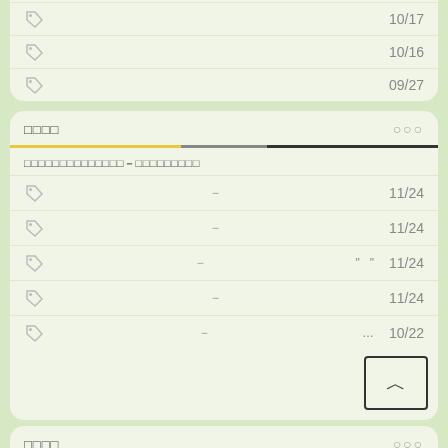tag icon - 10/17
tag icon - 10/16
tag icon - 09/27
□□□□ ... ○○○
□□□□□□□□□□□□□□-□□□□□□□□□
tag icon - - 11/24
tag icon - - 11/24
tag icon - - " " 11/24
tag icon - - 11/24
tag icon - - ... 10/22
□□□□ ... ○○○